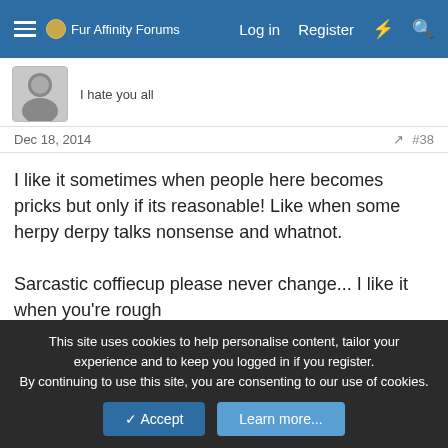Fur Affinity Forums — Log in  Register
I hate you all
Dec 18, 2014  #38
I like it sometimes when people here becomes pricks but only if its reasonable! Like when some herpy derpy talks nonsense and whatnot.

Sarcastic coffiecup please never change... I like it when you're rough
Kitsune Cross
**** that **** now! Bitch
This site uses cookies to help personalise content, tailor your experience and to keep you logged in if you register.
By continuing to use this site, you are consenting to our use of cookies.